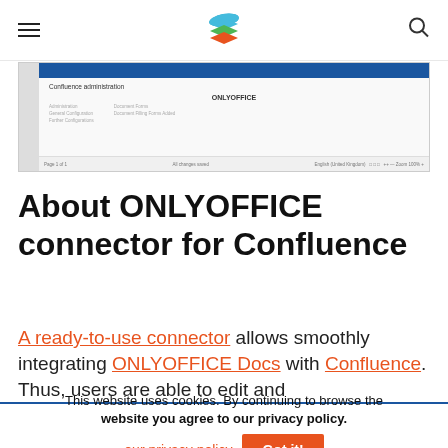ONLYOFFICE logo, hamburger menu, search icon
[Figure (screenshot): Screenshot of ONLYOFFICE Docs editor integrated in Confluence administration panel, showing 'Confluence administration' header bar, ONLYOFFICE label, document forms section, and a toolbar at the bottom with zoom controls.]
About ONLYOFFICE connector for Confluence
A ready-to-use connector allows smoothly integrating ONLYOFFICE Docs with Confluence. Thus, users are able to edit and
This website uses cookies. By continuing to browse the website you agree to our privacy policy.
our privacy policy  Got it!